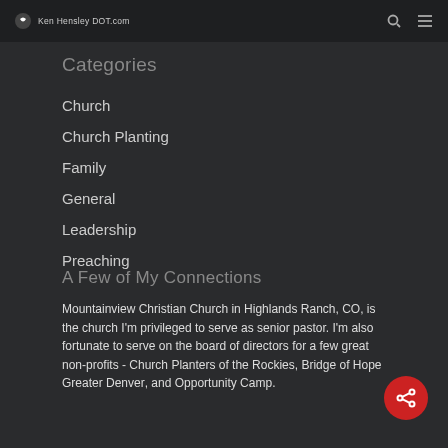Ken Hensley DOT com
Categories
Church
Church Planting
Family
General
Leadership
Preaching
A Few of My Connections
Mountainview Christian Church in Highlands Ranch, CO, is the church I'm privileged to serve as senior pastor. I'm also fortunate to serve on the board of directors for a few great non-profits - Church Planters of the Rockies, Bridge of Hope Greater Denver, and Opportunity Camp.